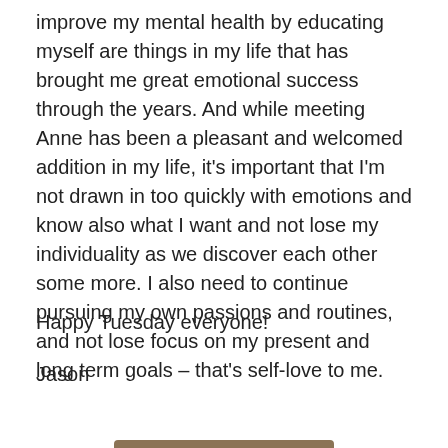improve my mental health by educating myself are things in my life that has brought me great emotional success through the years. And while meeting Anne has been a pleasant and welcomed addition in my life, it's important that I'm not drawn in too quickly with emotions and know also what I want and not lose my individuality as we discover each other some more. I also need to continue pursuing my own passions and routines, and not lose focus on my present and long term goals – that's self-love to me.
Happy Tuesday everyone!
Jason